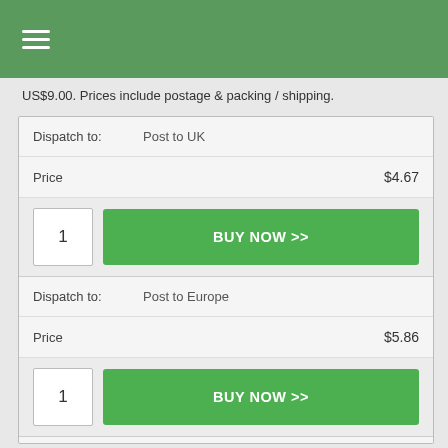≡ (menu icon)
US$9.00. Prices include postage & packing / shipping.
| Field | Value |
| --- | --- |
| Dispatch to: | Post to UK |
| Price | $4.67 |
| Qty / Action | 1 | BUY NOW >> |
| Dispatch to: | Post to Europe |
| Price | $5.86 |
| Qty / Action | 1 | BUY NOW >> |
| Dispatch to: | Post to USA or Canada |